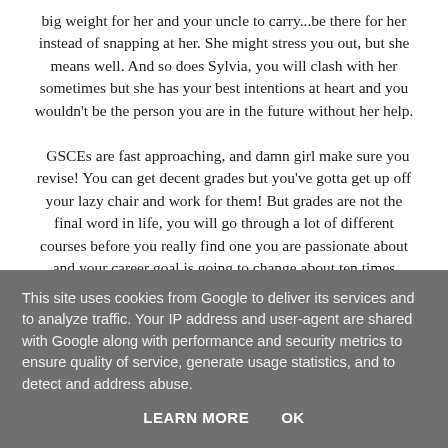big weight for her and your uncle to carry...be there for her instead of snapping at her. She might stress you out, but she means well. And so does Sylvia, you will clash with her sometimes but she has your best intentions at heart and you wouldn't be the person you are in the future without her help.

GSCEs are fast approaching, and damn girl make sure you revise! You can get decent grades but you've gotta get up off your lazy chair and work for them! But grades are not the final word in life, you will go through a lot of different courses before you really find one you are passionate about and your career goal is going to change about ten times (Remember when you
This site uses cookies from Google to deliver its services and to analyze traffic. Your IP address and user-agent are shared with Google along with performance and security metrics to ensure quality of service, generate usage statistics, and to detect and address abuse.
LEARN MORE    OK